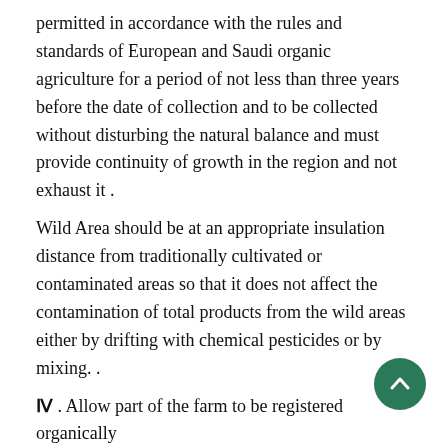permitted in accordance with the rules and standards of European and Saudi organic agriculture for a period of not less than three years before the date of collection and to be collected without disturbing the natural balance and must provide continuity of growth in the region and not exhaust it.
Wild Area should be at an appropriate insulation distance from traditionally cultivated or contaminated areas so that it does not affect the contamination of total products from the wild areas either by drifting with chemical pesticides or by mixing. .
IV. Allow part of the farm to be registered organically
In accordance with the rules and standards of organic agriculture, farms can register part of the farm as a whole as an organic farm, taking into account the separation precautions and the absence of drifting with chemical pesticides and parallel production for sustainable crops such as date palms, citrus fruits, olives, etc..
A some of organic agriculture...